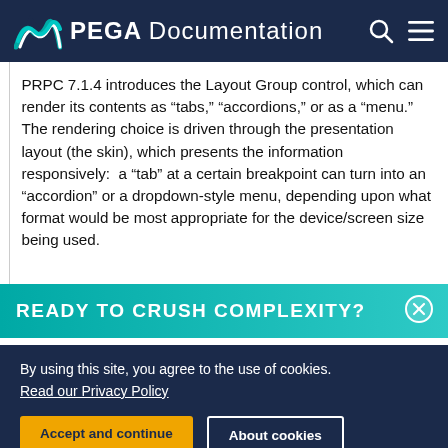PEGA Documentation
PRPC 7.1.4 introduces the Layout Group control, which can render its contents as “tabs,” “accordions,” or as a “menu.”  The rendering choice is driven through the presentation layout (the skin), which presents the information responsively:  a “tab” at a certain breakpoint can turn into an “accordion” or a dropdown-style menu, depending upon what format would be most appropriate for the device/screen size being used.
READY TO CRUSH COMPLEXITY?
By using this site, you agree to the use of cookies.
Read our Privacy Policy
Accept and continue
About cookies